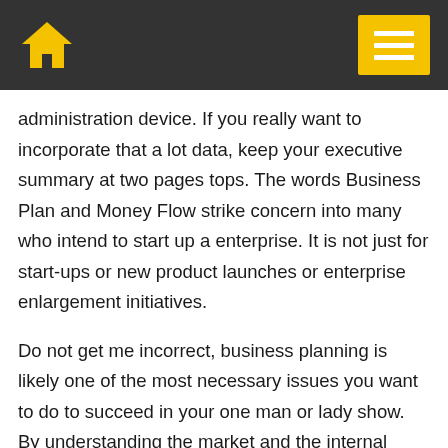administration device. If you really want to incorporate that a lot data, keep your executive summary at two pages tops. The words Business Plan and Money Flow strike concern into many who intend to start up a enterprise. It is not just for start-ups or new product launches or enterprise enlargement initiatives.
Do not get me incorrect, business planning is likely one of the most necessary issues you want to do to succeed in your one man or lady show. By understanding the market and the internal capabilities, the company is ready to conceive real looking enterprise goals for the management and the crew to attain.
While you cope with a highly technical business you might